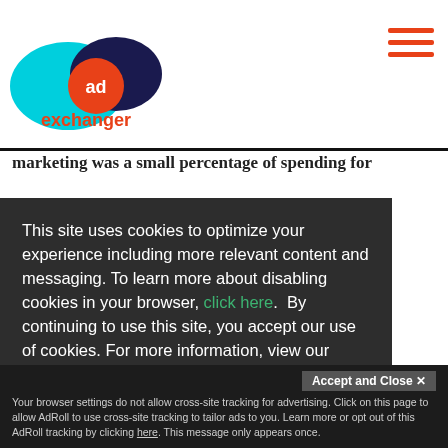[Figure (logo): AdExchanger logo with cyan and dark blue overlapping circles and orange 'ad' circle in center, with 'exchanger' text in orange below]
marketing was a small percentage of spending for
This site uses cookies to optimize your experience including more relevant content and messaging. To learn more about disabling cookies in your browser, click here. By continuing to use this site, you accept our use of cookies. For more information, view our updated Privacy Policy.
prise
e was
e of
s
igital
king
I consent
Accept and Close ✕
Your browser settings do not allow cross-site tracking for advertising. Click on this page to allow AdRoll to use cross-site tracking to tailor ads to you. Learn more or opt out of this AdRoll tracking by clicking here. This message only appears once.